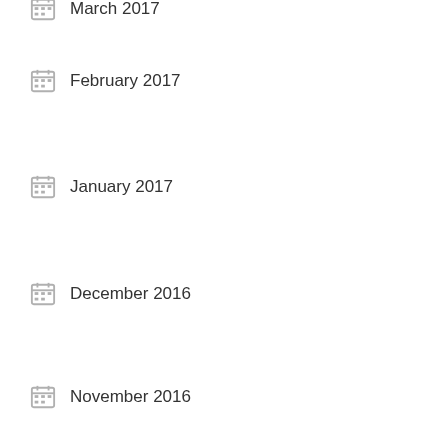March 2017
February 2017
January 2017
December 2016
November 2016
October 2016
September 2016
August 2016
July 2016
June 2016
May 2016